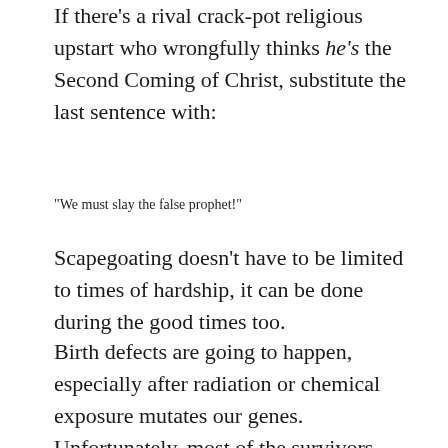If there's a rival crack-pot religious upstart who wrongfully thinks he's the Second Coming of Christ, substitute the last sentence with:
“We must slay the false prophet!”
Scapegoating doesn’t have to be limited to times of hardship, it can be done during the good times too.
Birth defects are going to happen, especially after radiation or chemical exposure mutates our genes. Unfortunately, most of the survivors aren’t going to have much scientific knowledge and will probably believe the defects are of supernatural origin. Meaning, birth defects are going to become marks of Satan or signs that God is punishing a family for some